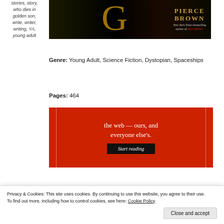stories, story, who dies in golden son, write, writer, writing, YA, young adult
[Figure (photo): Book cover of Golden Son by Pierce Brown - black background with gold letter G and author name, subtitle reads New York Times bestselling author of Red Rising]
Genre: Young Adult, Science Fiction, Dystopian, Spaceships
Pages: 464
[Figure (screenshot): Red advertisement banner with white serif text reading 'the web — ours, and everyone else's.' with a black 'Start reading' button. Vertical white border lines on left and right sides.]
Privacy & Cookies: This site uses cookies. By continuing to use this website, you agree to their use.
To find out more, including how to control cookies, see here: Cookie Policy
Close and accept